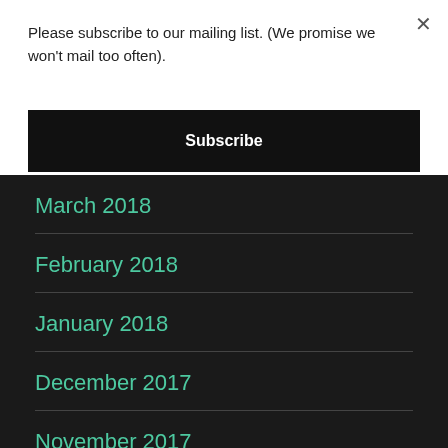Please subscribe to our mailing list. (We promise we won't mail too often).
Subscribe
March 2018
February 2018
January 2018
December 2017
November 2017
October 2017